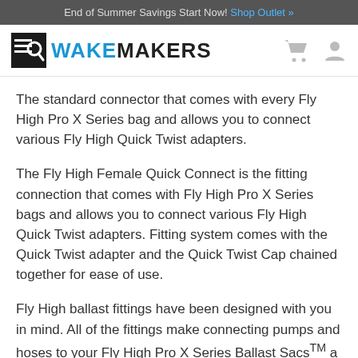End of Summer Savings Start Now! Shop Outlet »
[Figure (logo): WakeMakers logo with search icon and brand name]
The standard connector that comes with every Fly High Pro X Series bag and allows you to connect various Fly High Quick Twist adapters.
The Fly High Female Quick Connect is the fitting connection that comes with Fly High Pro X Series bags and allows you to connect various Fly High Quick Twist adapters. Fitting system comes with the Quick Twist adapter and the Quick Twist Cap chained together for ease of use.
Fly High ballast fittings have been designed with you in mind. All of the fittings make connecting pumps and hoses to your Fly High Pro X Series Ballast Sacs™ a quick and simple task. No more struggling with old waterbed valves and water spilling inside